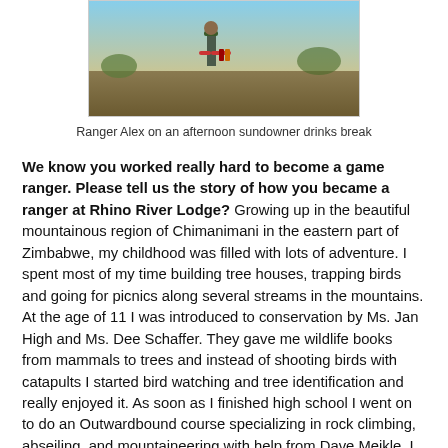[Figure (photo): Photo of Ranger Alex holding items during an afternoon sundowner drinks break, outdoors in natural setting]
Ranger Alex on an afternoon sundowner drinks break
We know you worked really hard to become a game ranger. Please tell us the story of how you became a ranger at Rhino River Lodge? Growing up in the beautiful mountainous region of Chimanimani in the eastern part of Zimbabwe, my childhood was filled with lots of adventure. I spent most of my time building tree houses, trapping birds and going for picnics along several streams in the mountains.
At the age of 11 I was introduced to conservation by Ms. Jan High and Ms. Dee Schaffer. They gave me wildlife books from mammals to trees and instead of shooting birds with catapults I started bird watching and tree identification and really enjoyed it. As soon as I finished high school I went on to do an Outwardbound course specializing in rock climbing, abseiling, and mountaineering with help from Dave Meikle. I